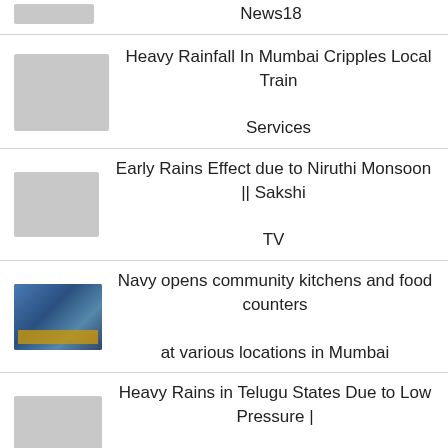News18
Heavy Rainfall In Mumbai Cripples Local Train Services
Early Rains Effect due to Niruthi Monsoon || Sakshi TV
Navy opens community kitchens and food counters at various locations in Mumbai
Heavy Rains in Telugu States Due to Low Pressure | TV5 News